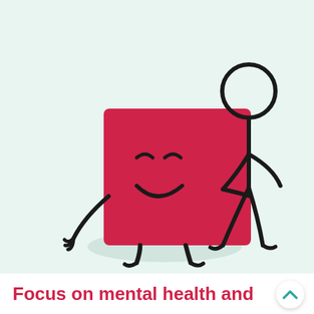[Figure (illustration): A cheerful cartoon red square character with a smiley face, arms, and legs, shaking hands with a stick figure person. The square character has closed happy eyes and a smile drawn on it. Both figures stand on a rounded grey platform. Background is light mint green.]
Focus on mental health and